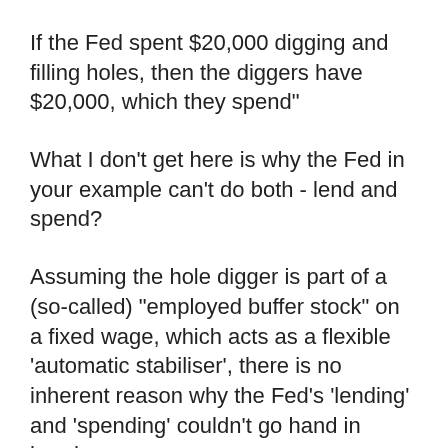If the Fed spent $20,000 digging and filling holes, then the diggers have $20,000, which they spend"
What I don't get here is why the Fed in your example can't do both - lend and spend?
Assuming the hole digger is part of a (so-called) "employed buffer stock" on a fixed wage, which acts as a flexible 'automatic stabiliser', there is no inherent reason why the Fed's 'lending' and 'spending' couldn't go hand in hand.
If the hole digger wasn't being